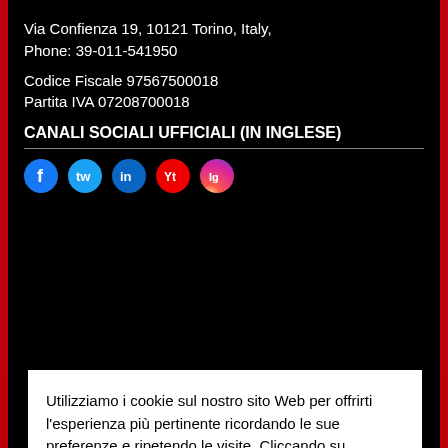Via Confienza 19, 10121 Torino, Italy,
Phone: 39-011-541950
Codice Fiscale 97567500018
Partita IVA 07208700018
CANALI SOCIALI UFFICIALI (IN INGLESE)
[Figure (other): Social media icons: Facebook, Twitter, LinkedIn, YouTube, Instagram]
Utilizziamo i cookie sul nostro sito Web per offrirti l'esperienza più pertinente ricordando le sue preferenze e ripetendo le visite. Cliccando su 'Accetta', acconsenti all'uso di TUTTI i cookie.
Non vendere le mie informazioni personali.
Maggiori informazioni  Impostazioni
Rifiuta  Accetta